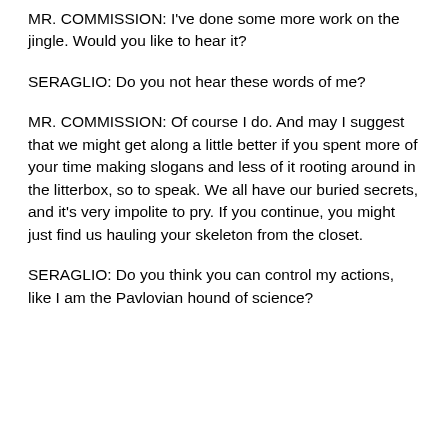MR. COMMISSION: I've done some more work on the jingle. Would you like to hear it?
SERAGLIO: Do you not hear these words of me?
MR. COMMISSION: Of course I do. And may I suggest that we might get along a little better if you spent more of your time making slogans and less of it rooting around in the litterbox, so to speak. We all have our buried secrets, and it's very impolite to pry. If you continue, you might just find us hauling your skeleton from the closet.
SERAGLIO: Do you think you can control my actions, like I am the Pavlovian hound of science?